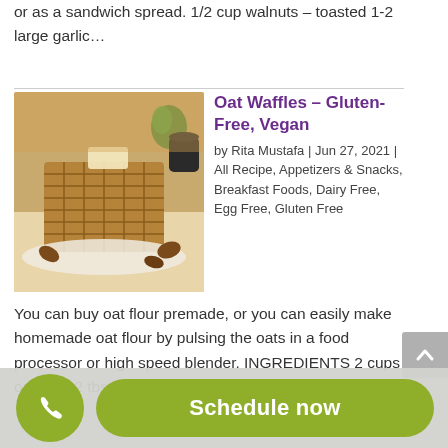or as a sandwich spread. 1/2 cup walnuts – toasted 1-2 large garlic…
[Figure (photo): Photo of oat waffles on a plate topped with butter, surrounded by pecans, with a plant and dark teapot in background]
Oat Waffles – Gluten-Free, Vegan
by Rita Mustafa | Jun 27, 2021 | All Recipe, Appetizers & Snacks, Breakfast Foods, Dairy Free, Egg Free, Gluten Free
You can buy oat flour premade, or you can easily make homemade oat flour by pulsing the oats in a food processor or high speed blender. INGREDIENTS 2 cups oat flour 2 tbsp. coconut sugar (or sweetener of your
Schedule now